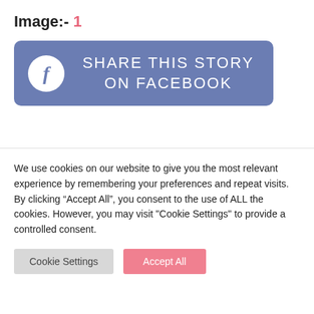Image:- 1
[Figure (screenshot): A Facebook share button with rounded rectangle background in muted blue-purple, white circle with 'f' icon on the left, and text 'SHARE THIS STORY ON FACEBOOK' in white uppercase letters]
We use cookies on our website to give you the most relevant experience by remembering your preferences and repeat visits. By clicking “Accept All”, you consent to the use of ALL the cookies. However, you may visit "Cookie Settings" to provide a controlled consent.
Cookie Settings   Accept All